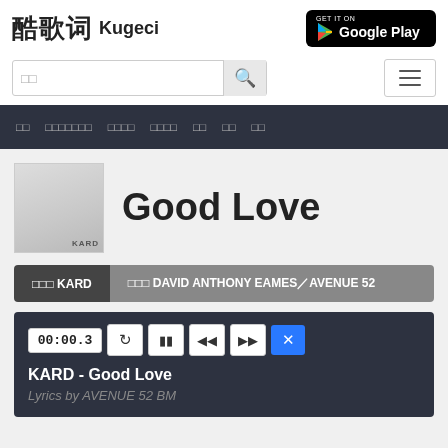[Figure (logo): 酷歌词 Kugeci website logo with Chinese characters and English text]
[Figure (logo): GET IT ON Google Play badge]
□□ (search input placeholder)
≡ (hamburger menu button)
□□  □□□□□□□  □□□□  □□□□  □□  □□  □□ (navigation bar items)
[Figure (photo): KARD album art thumbnail, light grey/white cover with KARD text at bottom]
Good Love
□□□ KARD
□□□ DAVID ANTHONY EAMES／AVENUE 52
00:00.3
KARD - Good Love
Lyrics by AVENUE 52 BM